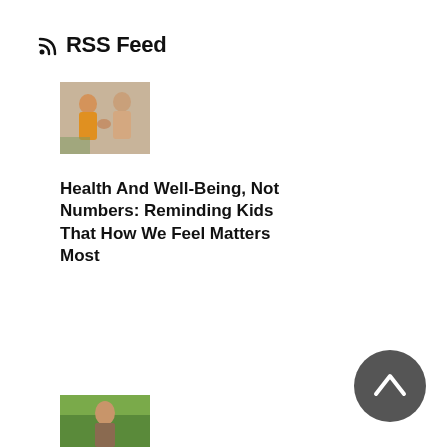RSS Feed
[Figure (photo): Two people, one in yellow/orange top, exchanging or handling a small item, indoor setting]
Health And Well-Being, Not Numbers: Reminding Kids That How We Feel Matters Most
[Figure (photo): Woman outdoors in green foliage setting]